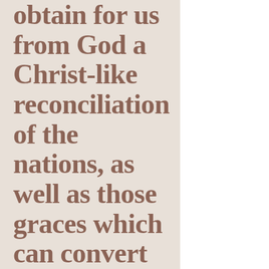obtain for us from God a Christ-like reconciliation of the nations, as well as those graces which can convert the